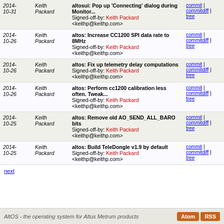| Date | Author | Message | Links |
| --- | --- | --- | --- |
| 2014-10-31 | Keith Packard | altosui: Pop up 'Connecting' dialog during Monitor...
Signed-off-by: Keith Packard <keithp@keithp.com> | commit | commitdiff | tree |
| 2014-10-26 | Keith Packard | altos: Increase CC1200 SPI data rate to 8MHz
Signed-off-by: Keith Packard <keithp@keithp.com> | commit | commitdiff | tree |
| 2014-10-26 | Keith Packard | altos: Fix up telemetry delay computations
Signed-off-by: Keith Packard <keithp@keithp.com> | commit | commitdiff | tree |
| 2014-10-26 | Keith Packard | altos: Perform cc1200 calibration less often. Tweak...
Signed-off-by: Keith Packard <keithp@keithp.com> | commit | commitdiff | tree |
| 2014-10-25 | Keith Packard | altos: Remove old AO_SEND_ALL_BARO bits
Signed-off-by: Keith Packard <keithp@keithp.com> | commit | commitdiff | tree |
| 2014-10-25 | Keith Packard | altos: Build TeleDongle v1.9 by default
Signed-off-by: Keith Packard <keithp@keithp.com> | commit | commitdiff | tree |
next
AltOS - the operating system for Altus Metrum products